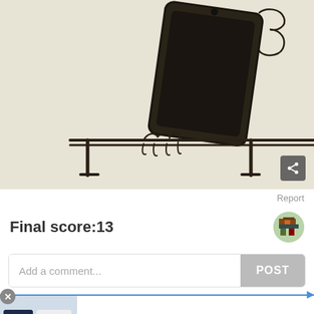[Figure (illustration): Hand-drawn illustration on beige background showing a smartphone/tablet in a case perched on a bar with claw-like hands gripping the bar, with a cursive number '3' or signature in the top right corner. A share button icon is in the bottom right.]
Report
Final score:13
[Figure (photo): Small circular avatar image showing a pixel-art or illustrated character with a camera or binoculars]
Add a comment...
POST
[Figure (photo): Advertisement image showing NFL jerseys - a dark navy Patriots jersey and a white jersey on the left side of the ad]
Official NFL Gear
Get Your Favorite Team's Gear Here
www.nflshop.com